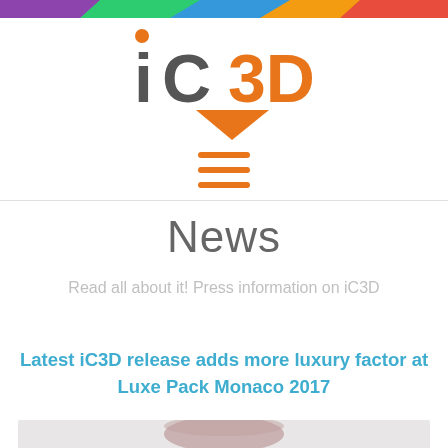[Figure (logo): iC3D logo with orange 3D chevron/arrow shape and stylized text]
[Figure (other): Hamburger menu icon with three horizontal orange lines]
News
Read all about it! Press information on iC3D
Latest iC3D release adds more luxury factor at Luxe Pack Monaco 2017
[Figure (photo): Partial photo of a luxury product (cosmetic jar) on light grey background]